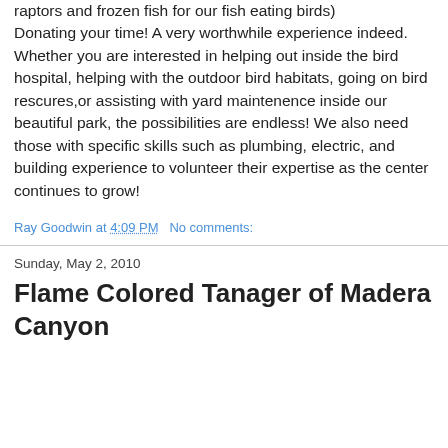raptors and frozen fish for our fish eating birds) Donating your time! A very worthwhile experience indeed. Whether you are interested in helping out inside the bird hospital, helping with the outdoor bird habitats, going on bird rescures,or assisting with yard maintenence inside our beautiful park, the possibilities are endless! We also need those with specific skills such as plumbing, electric, and building experience to volunteer their expertise as the center continues to grow!
Ray Goodwin at 4:09 PM   No comments:
Sunday, May 2, 2010
Flame Colored Tanager of Madera Canyon